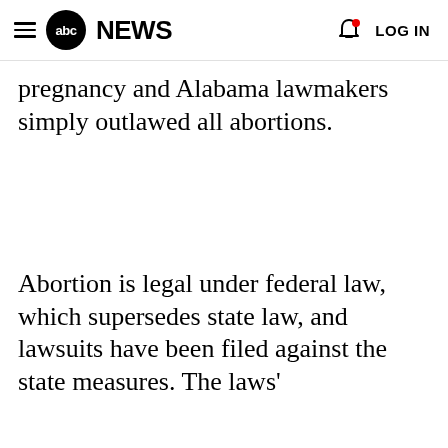abc NEWS  LOG IN
pregnancy and Alabama lawmakers simply outlawed all abortions.
Abortion is legal under federal law, which supersedes state law, and lawsuits have been filed against the state measures. The laws'